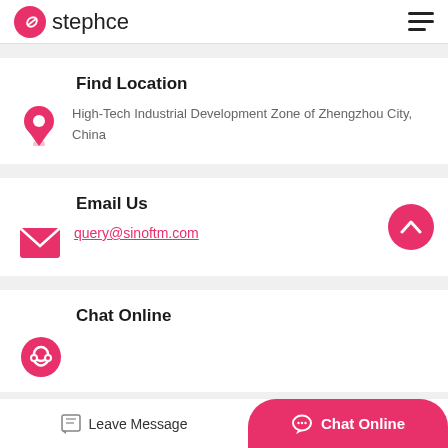stephce
Find Location
High-Tech Industrial Development Zone of Zhengzhou City, China
Email Us
query@sinoftm.com
Chat Online
Leave Message
Chat Online